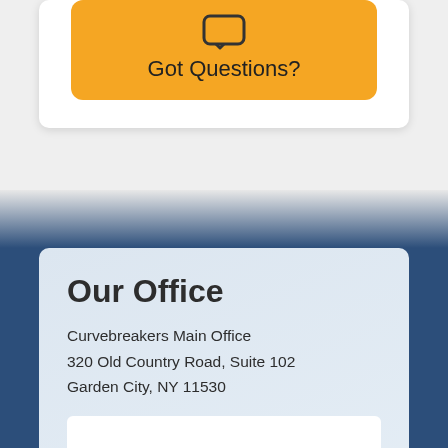[Figure (illustration): Orange rounded button with a chat/phone icon and the text 'Got Questions?']
Our Office
Curvebreakers Main Office
320 Old Country Road, Suite 102
Garden City, NY 11530
[Figure (other): Map embed placeholder (white rectangle)]